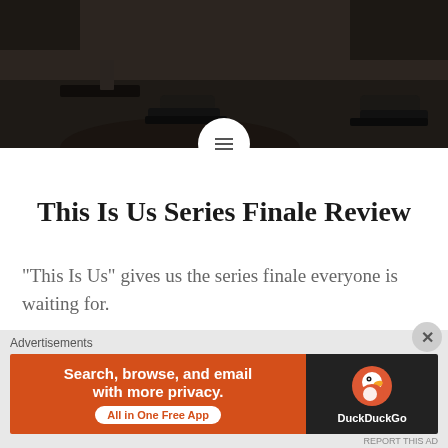[Figure (photo): Dark overhead photo showing a person's legs and feet wearing dark shoes on a wooden floor]
This Is Us Series Finale Review
“This Is Us” gives us the series finale everyone is waiting for.
[Figure (photo): Group photo of several people standing against a dark wall, looking serious]
Advertisements
[Figure (screenshot): DuckDuckGo advertisement banner: Search, browse, and email with more privacy. All in One Free App]